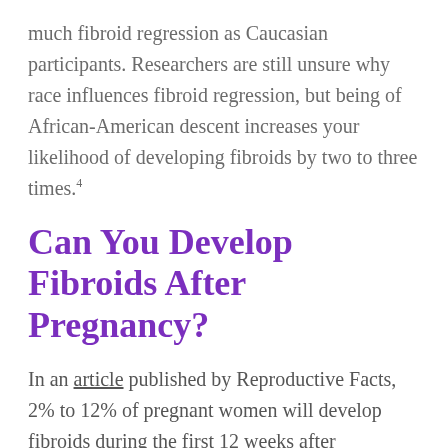much fibroid regression as Caucasian participants. Researchers are still unsure why race influences fibroid regression, but being of African-American descent increases your likelihood of developing fibroids by two to three times.4
Can You Develop Fibroids After Pregnancy?
In an article published by Reproductive Facts, 2% to 12% of pregnant women will develop fibroids during the first 12 weeks after conception.